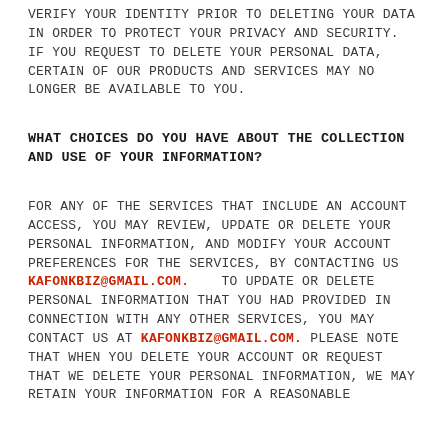verify your identity prior to deleting your data in order to protect your privacy and security. If you request to delete your personal data, certain of our products and services may no longer be available to you.
What choices do you have about the collection and use of your information?
For any of the services that include an account access, you may review, update or delete your personal information, and modify your account preferences for the services, by contacting us kafonkbiz@gmail.com.   To update or delete personal information that you had provided in connection with any other services, you may contact us at kafonkbiz@gmail.com. Please note that when you delete your account or request that we delete your personal information, we may retain your information for a reasonable